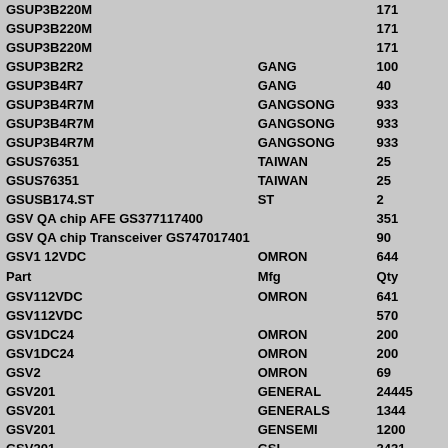| Part | Mfg | Qty |
| --- | --- | --- |
| GSUP3B220M |  | 171 |
| GSUP3B220M |  | 171 |
| GSUP3B220M |  | 171 |
| GSUP3B2R2 | GANG | 100 |
| GSUP3B4R7 | GANG | 40 |
| GSUP3B4R7M | GANGSONG | 933 |
| GSUP3B4R7M | GANGSONG | 933 |
| GSUP3B4R7M | GANGSONG | 933 |
| GSUS76351 | TAIWAN | 25 |
| GSUS76351 | TAIWAN | 25 |
| GSUSB174.ST | ST | 2 |
| GSV QA chip AFE GS377117400 |  | 351 |
| GSV QA chip Transceiver GS747017401 |  | 90 |
| GSV1 12VDC | OMRON | 644 |
| Part | Mfg | Qty |
| GSV112VDC | OMRON | 641 |
| GSV112VDC |  | 570 |
| GSV1DC24 | OMRON | 200 |
| GSV1DC24 | OMRON | 200 |
| GSV2 | OMRON | 69 |
| GSV201 | GENERAL | 24445 |
| GSV201 | GENERALS | 1344 |
| GSV201 | GENSEMI | 1200 |
| GSV201 | GSI | 2421 |
| GSV2DC5 | GMB | 000 |